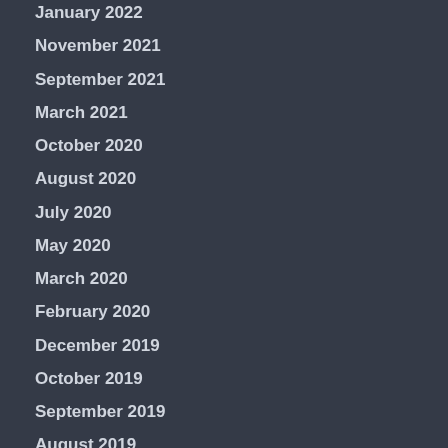January 2022
November 2021
September 2021
March 2021
October 2020
August 2020
July 2020
May 2020
March 2020
February 2020
December 2019
October 2019
September 2019
August 2019
July 2019
June 2019
May 2019